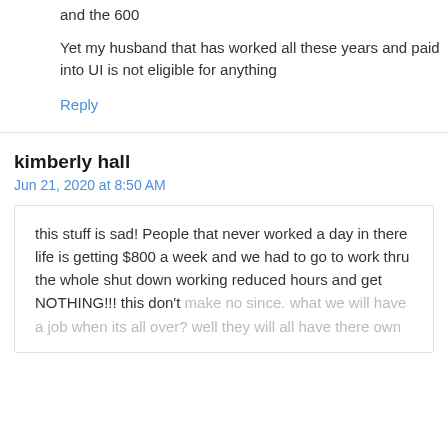and the 600
Yet my husband that has worked all these years and paid into UI is not eligible for anything
Reply
kimberly hall
Jun 21, 2020 at 8:50 AM
this stuff is sad! People that never worked a day in there life is getting $800 a week and we had to go to work thru the whole shut down working reduced hours and get NOTHING!!! this don't make no since. what we will have a job when its all over? well they will all have there own